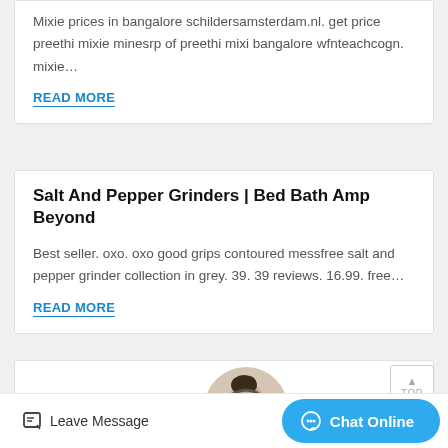Mixie prices in bangalore schildersamsterdam.nl. get price preethi mixie minesrp of preethi mixi bangalore wfnteachcogn. mixie…
READ MORE
Salt And Pepper Grinders | Bed Bath Amp Beyond
Best seller. oxo. oxo good grips contoured messfree salt and pepper grinder collection in grey. 39. 39 reviews. 16.99. free…
READ MORE
[Figure (photo): Customer service representative photo with headset]
Leave Message
Chat Online